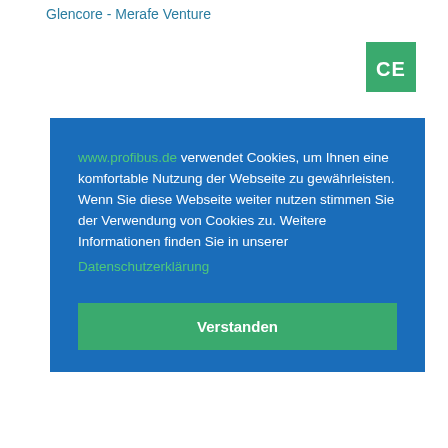Glencore - Merafe Venture
[Figure (other): Green CE badge/logo]
www.profibus.de verwendet Cookies, um Ihnen eine komfortable Nutzung der Webseite zu gewährleisten. Wenn Sie diese Webseite weiter nutzen stimmen Sie der Verwendung von Cookies zu. Weitere Informationen finden Sie in unserer Datenschutzerklärung
Verstanden